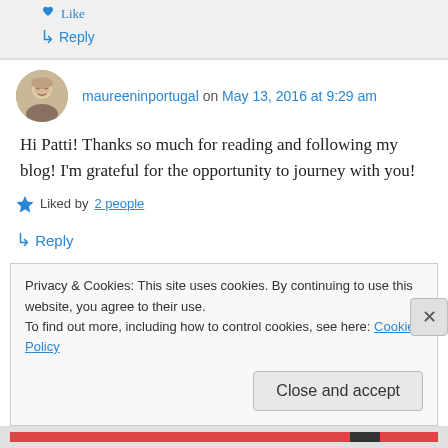Like
↳ Reply
maureeninportugal on May 13, 2016 at 9:29 am
Hi Patti! Thanks so much for reading and following my blog! I'm grateful for the opportunity to journey with you!
★ Liked by 2 people
↳ Reply
Privacy & Cookies: This site uses cookies. By continuing to use this website, you agree to their use.
To find out more, including how to control cookies, see here: Cookie Policy